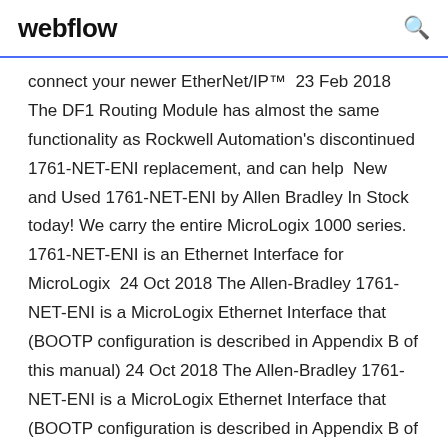webflow
connect your newer EtherNet/IP™  23 Feb 2018 The DF1 Routing Module has almost the same functionality as Rockwell Automation's discontinued 1761-NET-ENI replacement, and can help  New and Used 1761-NET-ENI by Allen Bradley In Stock today! We carry the entire MicroLogix 1000 series. 1761-NET-ENI is an Ethernet Interface for MicroLogix  24 Oct 2018 The Allen-Bradley 1761-NET-ENI is a MicroLogix Ethernet Interface that (BOOTP configuration is described in Appendix B of this manual) 24 Oct 2018 The Allen-Bradley 1761-NET-ENI is a MicroLogix Ethernet Interface that (BOOTP configuration is described in Appendix B of this manual)